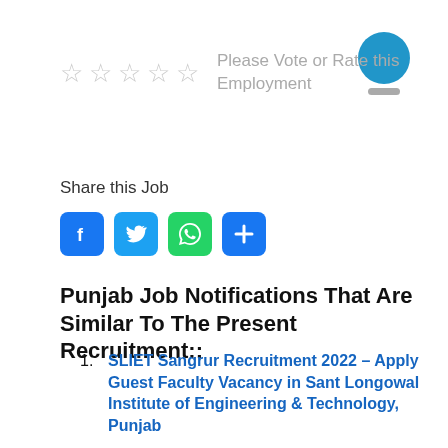Please Vote or Rate this Employment
Share this Job
[Figure (infographic): Four social share buttons: Facebook (blue F), Twitter (blue bird), WhatsApp (green phone), Share (blue plus)]
Punjab Job Notifications That Are Similar To The Present Recruitment::
SLIET Sangrur Recruitment 2022 – Apply Guest Faculty Vacancy in Sant Longowal Institute of Engineering & Technology, Punjab
Panjab University Ludhiana Recruitment 2022 – Apply Guest Faculty Vacancy in Panjab University, Punjab